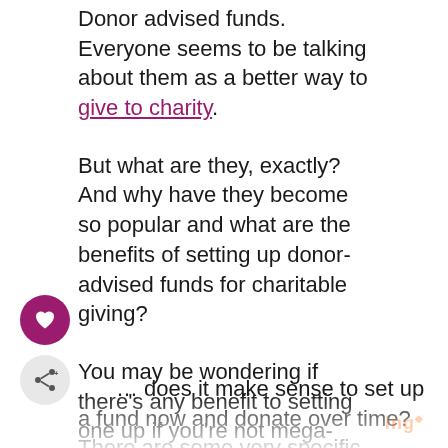Donor advised funds. Everyone seems to be talking about them as a better way to give to charity.
But what are they, exactly? And why have they become so popular and what are the benefits of setting up donor-advised funds for charitable giving?
You may be wondering if there's any benefit to setting one up if you're not mega-wealthy and only plan to donate a small percentage of your income or assets to charity.
… does it make sense to set up a fund now and donate over time? There are some very specific